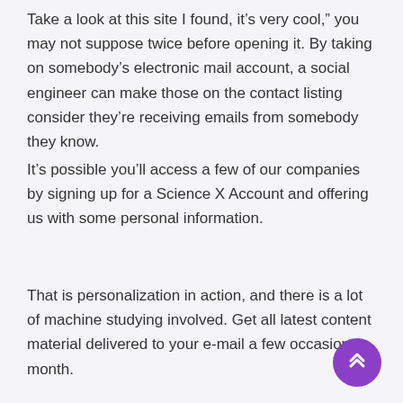Take a look at this site I found, it’s very cool,” you may not suppose twice before opening it. By taking on somebody’s electronic mail account, a social engineer can make those on the contact listing consider they’re receiving emails from somebody they know.
It’s possible you’ll access a few of our companies by signing up for a Science X Account and offering us with some personal information.
That is personalization in action, and there is a lot of machine studying involved. Get all latest content material delivered to your e-mail a few occasions a month.